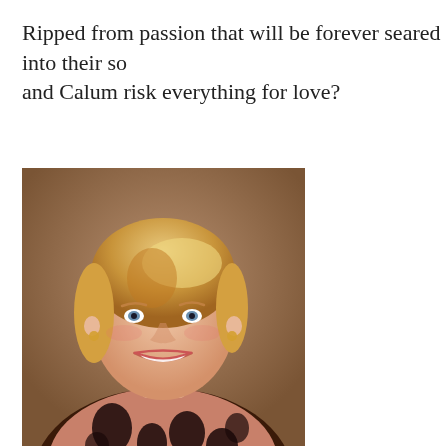Ripped from passion that will be forever seared into their so and Calum risk everything for love?
[Figure (photo): Portrait photo of a smiling middle-aged woman with short blonde hair, wearing a brown and black floral-print blouse, photographed against a warm brown background.]